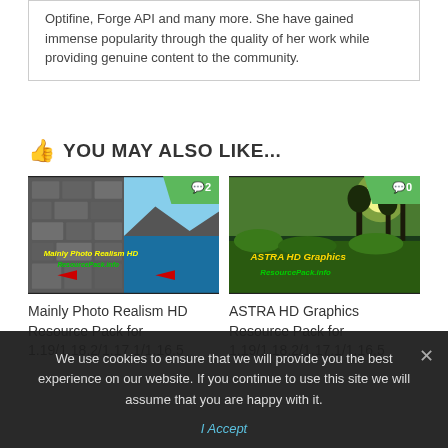Optifine, Forge API and many more. She have gained immense popularity through the quality of her work while providing genuine content to the community.
YOU MAY ALSO LIKE...
[Figure (screenshot): Thumbnail for 'Mainly Photo Realism HD ResourcePack.info' Minecraft resource pack with comment badge showing 2]
Mainly Photo Realism HD Resource Pack for 1.19/1.18.2/1.17.1/1.16.5
[Figure (screenshot): Thumbnail for 'ASTRA HD Graphics ResourcePack.info' Minecraft resource pack with comment badge showing 0]
ASTRA HD Graphics Resource Pack for 1.19/1.18.2/1.17.1/1.16.5
We use cookies to ensure that we will provide you the best experience on our website. If you continue to use this site we will assume that you are happy with it.
I Accept